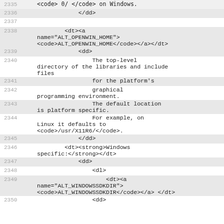Code viewer showing source lines 2335-2350 with HTML markup for documentation
2335: <code> 0/ </code> on Windows.
2336:     </dd>
2337: (blank)
2338:     <dt><a name="ALT_OPENWIN_HOME"><code>ALT_OPENWIN_HOME</code></a></dt>
2339:         <dd>
2340:             The top-level directory of the libraries and include files
2341:             for the platform's
2342:             graphical programming environment.
2343:             The default location is platform specific.
2344:             For example, on Linux it defaults to <code>/usr/X11R6/</code>.
2345:         </dd>
2346:     <dt><strong>Windows specific:</strong></dt>
2347:         <dd>
2348:             <dl>
2349:                 <dt><a name="ALT_WINDOWSSDKDIR"><code>ALT_WINDOWSSDKDIR</code></a> </dt>
2350:             <dd>